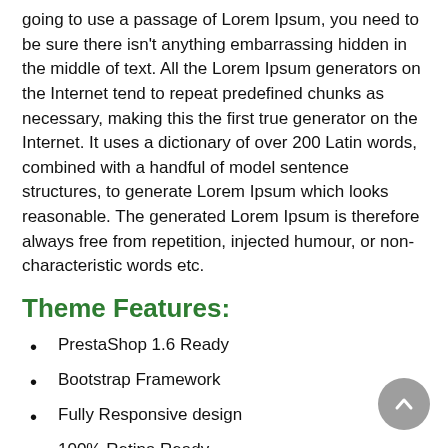going to use a passage of Lorem Ipsum, you need to be sure there isn't anything embarrassing hidden in the middle of text. All the Lorem Ipsum generators on the Internet tend to repeat predefined chunks as necessary, making this the first true generator on the Internet. It uses a dictionary of over 200 Latin words, combined with a handful of model sentence structures, to generate Lorem Ipsum which looks reasonable. The generated Lorem Ipsum is therefore always free from repetition, injected humour, or non-characteristic words etc.
Theme Features:
PrestaShop 1.6 Ready
Bootstrap Framework
Fully Responsive design
100% Retina Ready
Brands feature
Toggle Sidebar feature
Powerful Store Management and Reports